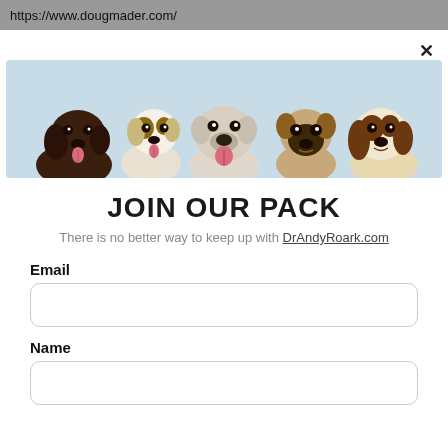https://www.dougmader.com/
[Figure (photo): Five dogs sitting side by side against a light blue background: a dark chocolate Labrador, a Jack Russell Terrier, a Bulldog, a Pug, and a Beagle puppy.]
JOIN OUR PACK
There is no better way to keep up with DrAndyRoark.com
Email
Name